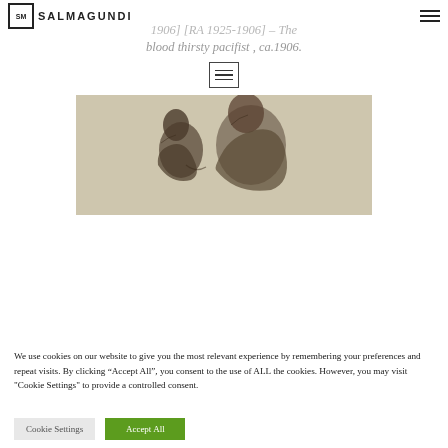SALMAGUNDI
1906] [RA 1925-1906] – The blood thirsty pacifist , ca.1906.
[Figure (illustration): Hamburger/menu icon: three horizontal lines inside a rectangular border]
[Figure (photo): Sepia-toned artwork showing two figures, one hunched and one larger, rendered in a sketchy charcoal or pencil style]
We use cookies on our website to give you the most relevant experience by remembering your preferences and repeat visits. By clicking "Accept All", you consent to the use of ALL the cookies. However, you may visit "Cookie Settings" to provide a controlled consent.
Cookie Settings   Accept All